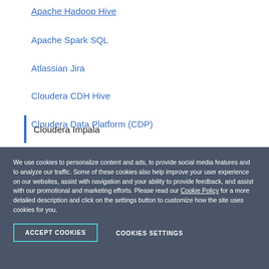Apache Hadoop Hive
Apache Spark SQL
Atlassian Jira
Cloudera CDH Hive
Cloudera Data Platform (CDP)
Cloudera Impala
We use cookies to personalize content and ads, to provide social media features and to analyze our traffic. Some of these cookies also help improve your user experience on our websites, assist with navigation and your ability to provide feedback, and assist with our promotional and marketing efforts. Please read our Cookie Policy for a more detailed description and click on the settings button to customize how the site uses cookies for you.
ACCEPT COOKIES
COOKIES SETTINGS